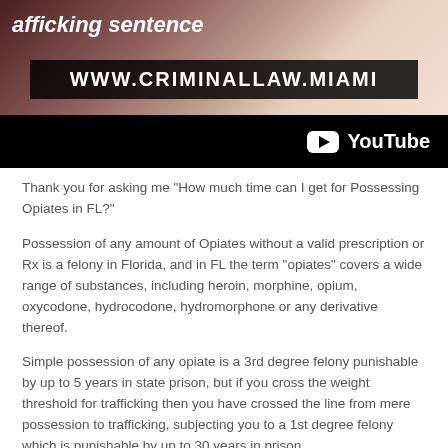[Figure (screenshot): YouTube video thumbnail showing a man in a white shirt and tie with text 'trafficking sentence' at top, website URL 'WWW.CRIMINALLAW.MIAMI' overlaid on the image, and YouTube logo/branding at the bottom on a black bar.]
Thank you for asking me “How much time can I get for Possessing Opiates in FL?”
Possession of any amount of Opiates without a valid prescription or Rx is a felony in Florida, and in FL the term “opiates” covers a wide range of substances, including heroin, morphine, opium, oxycodone, hydrocodone, hydromorphone or any derivative thereof.
Simple possession of any opiate is a 3rd degree felony punishable by up to 5 years in state prison, but if you cross the weight threshold for trafficking then you have crossed the line from mere possession to trafficking, subjecting you to a 1st degree felony which is punishable by up to 30 years in prison...